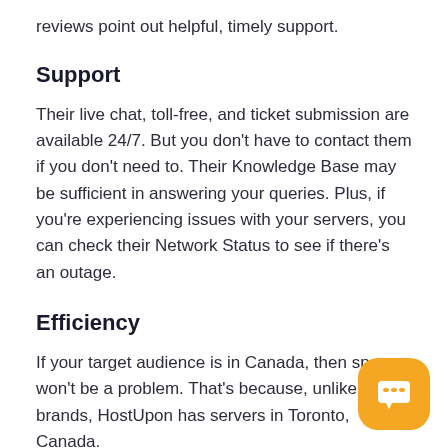reviews point out helpful, timely support.
Support
Their live chat, toll-free, and ticket submission are available 24/7. But you don't have to contact them if you don't need to. Their Knowledge Base may be sufficient in answering your queries. Plus, if you're experiencing issues with your servers, you can check their Network Status to see if there's an outage.
Efficiency
If your target audience is in Canada, then sp won't be a problem. That's because, unlike o brands, HostUpon has servers in Toronto, Canada.